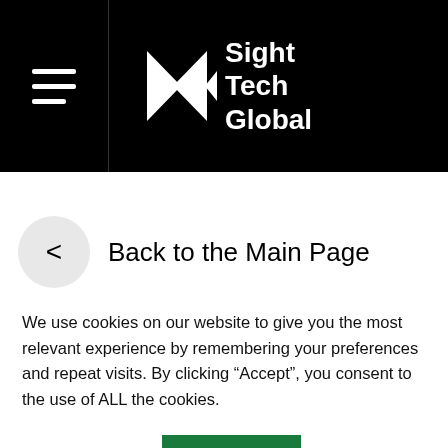Sight Tech Global
< Back to the Main Page
ACB  Benetech
We use cookies on our website to give you the most relevant experience by remembering your preferences and repeat visits. By clicking “Accept”, you consent to the use of ALL the cookies.
Cookie settings   ACCEPT